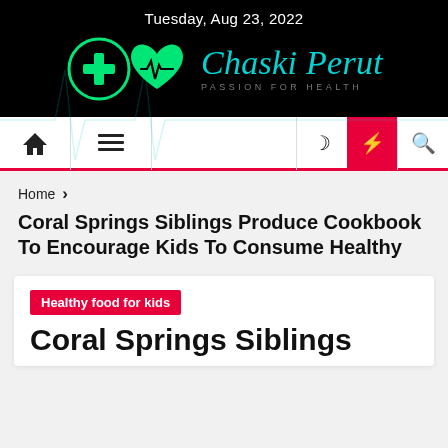Tuesday, Aug 23, 2022
[Figure (logo): Chaski Perut – Passion for Health logo with green heart and medical cross icons on black background with ECG line]
[Figure (screenshot): Navigation bar with home icon, hamburger menu, moon icon, lightning bolt (red background), and search icon]
Home > Coral Springs Siblings Produce Cookbook To Encourage Kids To Consume Healthy
Coral Springs Siblings Produce Cookbook To Encourage Kids To Consume Healthy
Healthy food for kids
Coral Springs Siblings